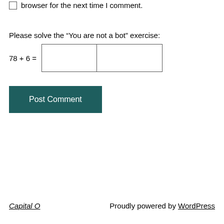browser for the next time I comment.
Please solve the “You are not a bot” exercise:
78 + 6 =
Post Comment
Capital O   Proudly powered by WordPress